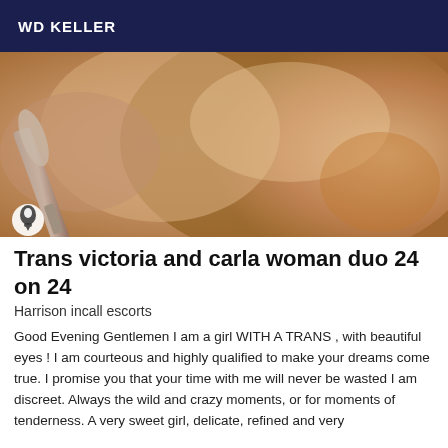WD KELLER
[Figure (photo): Close-up photo with warm skin tones and a brush-like object, partially cropped adult content image with a watermark icon in the bottom left corner.]
Trans victoria and carla woman duo 24 on 24
Harrison incall escorts
Good Evening Gentlemen I am a girl WITH A TRANS , with beautiful eyes ! I am courteous and highly qualified to make your dreams come true. I promise you that your time with me will never be wasted I am discreet. Always the wild and crazy moments, or for moments of tenderness. A very sweet girl, delicate, refined and very